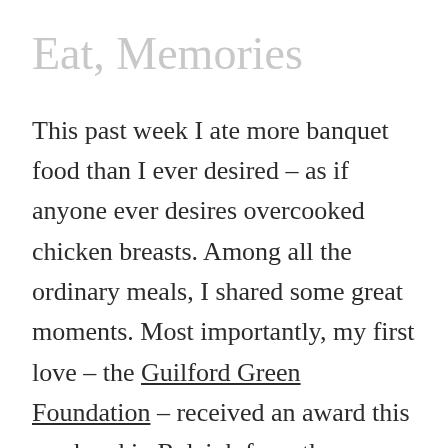Eat, Memories
This past week I ate more banquet food than I ever desired – as if anyone ever desires overcooked chicken breasts. Among all the ordinary meals, I shared some great moments. Most importantly, my first love – the Guilford Green Foundation – received an award this weekend in Raleigh from the Human Rights Campaign. It was a long time coming – for this acknowledgment is a flicker in the history of this organizations successes. The lives saved… and touched…and moved… are surely the moments